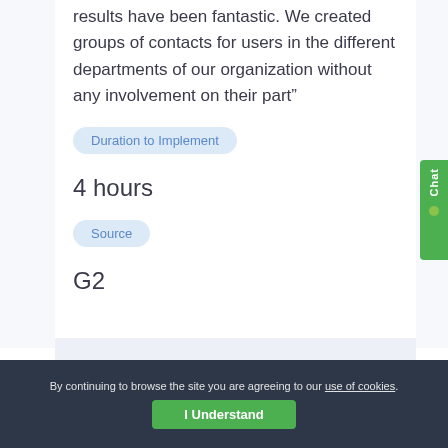results have been fantastic. We created groups of contacts for users in the different departments of our organization without any involvement on their part”
Duration to Implement
4 hours
Source
G2
By continuing to browse the site you are agreeing to our use of cookies. I Understand